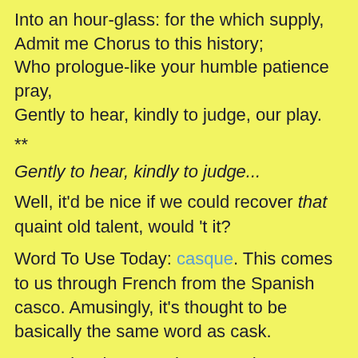Into an hour-glass: for the which supply,
Admit me Chorus to this history;
Who prologue-like your humble patience pray,
Gently to hear, kindly to judge, our play.
**
Gently to hear, kindly to judge...
Well, it'd be nice if we could recover that quaint old talent, would 't it?
Word To Use Today: casque. This comes to us through French from the Spanish casco. Amusingly, it's thought to be basically the same word as cask.
It's not just humans that wear them:
[Figure (photo): A photo of a cassowary bird showing its distinctive casque (helmet-like protrusion on its head), viewed from above/side angle, dark feathers visible with green foliage background.]